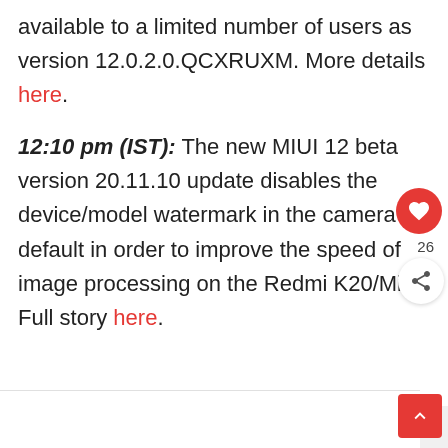available to a limited number of users as version 12.0.2.0.QCXRUXM. More details here.
12:10 pm (IST): The new MIUI 12 beta version 20.11.10 update disables the device/model watermark in the camera by default in order to improve the speed of image processing on the Redmi K20/Mi 9T. Full story here.